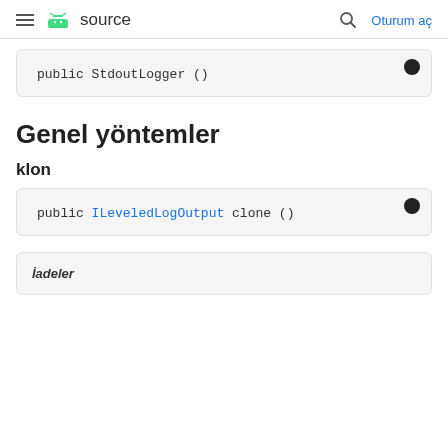≡ android source  🔍 Oturum aç
public StdoutLogger ()
Genel yöntemler
klon
public ILeveledLogOutput clone ()
| İadeler |
| --- |